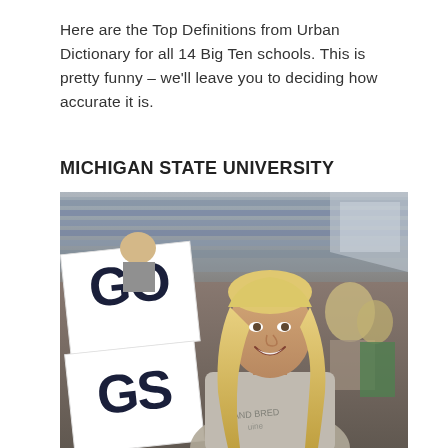Here are the Top Definitions from Urban Dictionary for all 14 Big Ten schools. This is pretty funny – we'll leave you to deciding how accurate it is.
MICHIGAN STATE UNIVERSITY
[Figure (photo): A smiling blonde woman at a stadium holding a sign that reads 'GO GS' (GO GREEN / GO STATE). She is wearing a grey t-shirt that says 'AND BRED' and appears to be at a Michigan State University football game. The stadium stands filled with fans are visible in the background.]